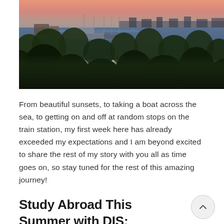[Figure (photo): Aerial/elevated photograph of a harbor or marina at sunset/dusk, with boats docked on calm water, surrounded by lush green trees in the foreground and city buildings in the background. Pink and orange sky reflected on the water.]
From beautiful sunsets, to taking a boat across the sea, to getting on and off at random stops on the train station, my first week here has already exceeded my expectations and I am beyond excited to share the rest of my story with you all as time goes on, so stay tuned for the rest of this amazing journey!
Study Abroad This Summer with DIS: